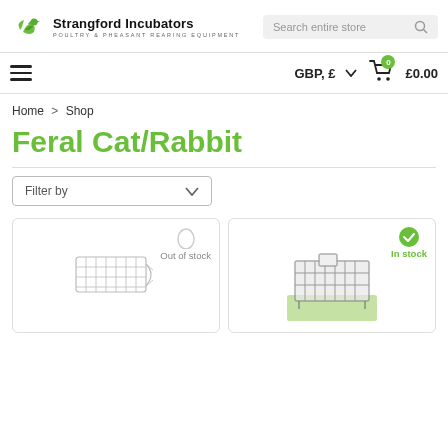[Figure (logo): Strangford Incubators logo with green bird and leaf motif]
Strangford Incubators - POULTRY & PHEASANT REARING EQUIPMENT | Search entire store | GBP, £ | Cart £0.00
Home > Shop
Feral Cat/Rabbit
Filter by
[Figure (photo): A wire mesh animal trap cage - out of stock]
[Figure (photo): A metal wire animal trap cage on grass - in stock]